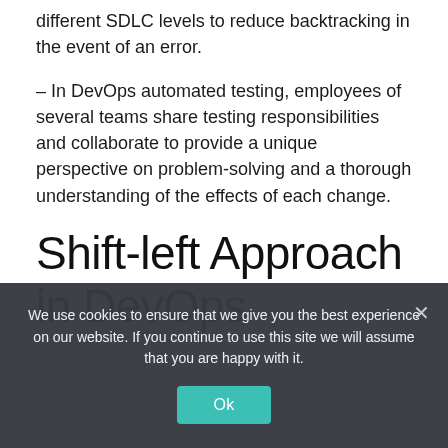different SDLC levels to reduce backtracking in the event of an error.
– In DevOps automated testing, employees of several teams share testing responsibilities and collaborate to provide a unique perspective on problem-solving and a thorough understanding of the effects of each change.
Shift-left Approach in DevOps
We use cookies to ensure that we give you the best experience on our website. If you continue to use this site we will assume that you are happy with it.